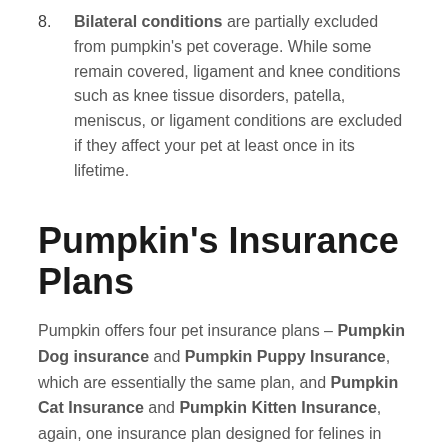8. Bilateral conditions are partially excluded from pumpkin's pet coverage. While some remain covered, ligament and knee conditions such as knee tissue disorders, patella, meniscus, or ligament conditions are excluded if they affect your pet at least once in its lifetime.
Pumpkin's Insurance Plans
Pumpkin offers four pet insurance plans – Pumpkin Dog insurance and Pumpkin Puppy Insurance, which are essentially the same plan, and Pumpkin Cat Insurance and Pumpkin Kitten Insurance, again, one insurance plan designed for felines in mind.